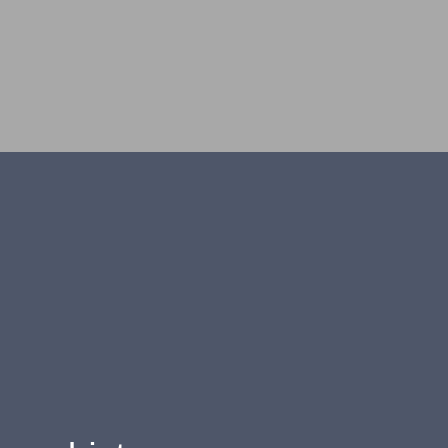[Figure (photo): Gray rectangular image placeholder occupying the top portion of the page]
history
SynThesis Architects is an awarded practice founded in 2005 by Dr Evangelia Chrysikou, Architect Engineer AUTH, MSc MARU, LSBU and  PhD in Architecture, Bartlett School of Graduate Studies UCL (University College